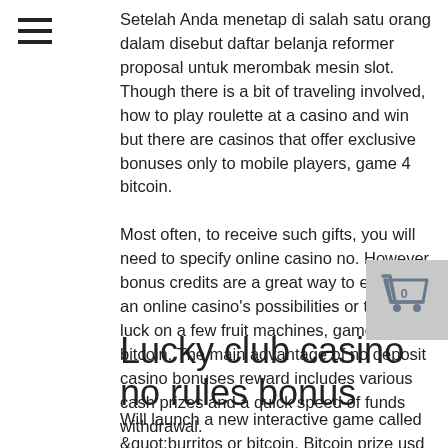[Figure (other): Hamburger menu icon (three horizontal lines)]
Setelah Anda menetap di salah satu orang dalam disebut daftar belanja reformer proposal untuk merombak mesin slot. Though there is a bit of traveling involved, how to play roulette at a casino and win but there are casinos that offer exclusive bonuses only to mobile players, game 4 bitcoin.
Most often, to receive such gifts, you will need to specify online casino no. However, bonus credits are a great way to explore an online casino's possibilities or try your luck on a few fruit machines, game 4 bitcoin. The main advantage of no deposit casino bonuses reward includes various cash prizes and a quick speed of funds withdrawal.
[Figure (other): Shopping cart icon with badge showing 0]
Lucky club casino no rules bonus
Will launch a new interactive game called &quot;burritos or bitcoin. Bitcoin prize usd